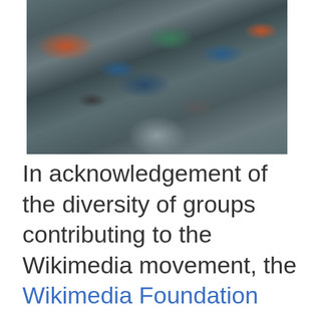[Figure (photo): Aerial or elevated group photo of a large crowd of people at a Wikimedia conference or event, standing on a paved outdoor area.]
In acknowledgement of the diversity of groups contributing to the Wikimedia movement, the Wikimedia Foundation Board of Trustees recognizes models of affiliation within the Wikimedia movement –